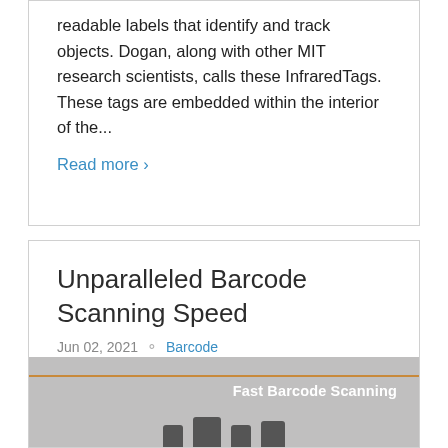readable labels that identify and track objects. Dogan, along with other MIT research scientists, calls these InfraredTags. These tags are embedded within the interior of the...
Read more ›
Unparalleled Barcode Scanning Speed
Jun 02, 2021  ⚬  Barcode
[Figure (photo): Photo of fast barcode scanning equipment with orange horizontal bar and text 'Fast Barcode Scanning' against a grey background with scanner hardware silhouettes at the bottom.]